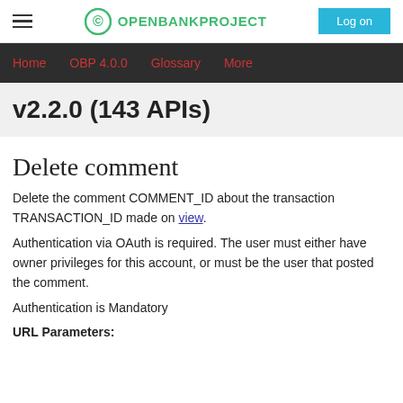OPENBANKPROJECT  Log on
Home  OBP 4.0.0  Glossary  More
v2.2.0 (143 APIs)
Delete comment
Delete the comment COMMENT_ID about the transaction TRANSACTION_ID made on view.
Authentication via OAuth is required. The user must either have owner privileges for this account, or must be the user that posted the comment.
Authentication is Mandatory
URL Parameters: